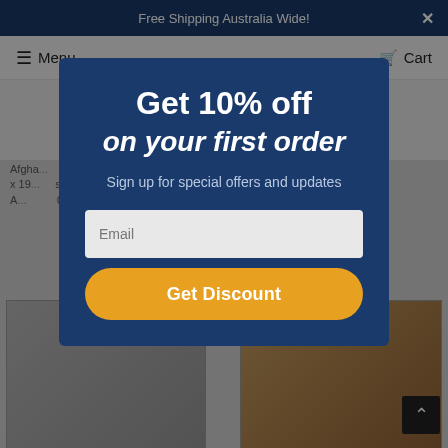Free Shipping Australia Wide! ×
Menu  Cart
[Figure (screenshot): Background website showing partial rug product page with rug images]
Get 10% off on your first order
Sign up for special offers and updates
Email
Get Discount